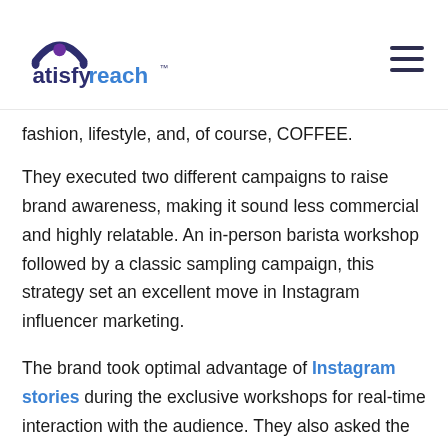atisfyreach
fashion, lifestyle, and, of course, COFFEE.
They executed two different campaigns to raise brand awareness, making it sound less commercial and highly relatable. An in-person barista workshop followed by a classic sampling campaign, this strategy set an excellent move in Instagram influencer marketing.
The brand took optimal advantage of Instagram stories during the exclusive workshops for real-time interaction with the audience. They also asked the influencers to produce recipes incorporating the newly